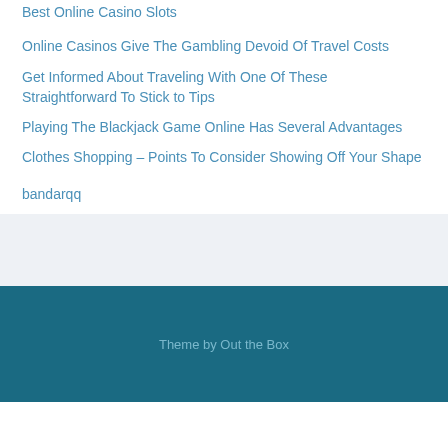Best Online Casino Slots
Online Casinos Give The Gambling Devoid Of Travel Costs
Get Informed About Traveling With One Of These Straightforward To Stick to Tips
Playing The Blackjack Game Online Has Several Advantages
Clothes Shopping – Points To Consider Showing Off Your Shape
bandarqq
Theme by Out the Box